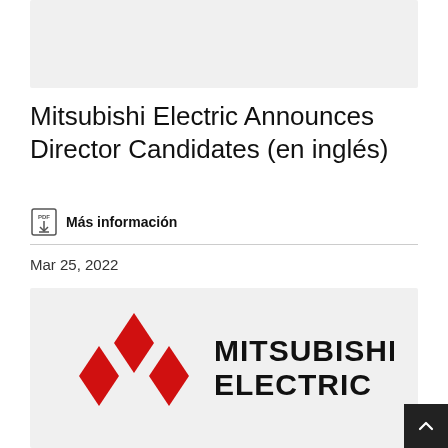[Figure (other): Gray placeholder image area at the top of the page]
Mitsubishi Electric Announces Director Candidates (en inglés)
PDF  Más información
Mar 25, 2022
[Figure (logo): Mitsubishi Electric logo with red three-diamond mark and MITSUBISHI ELECTRIC wordmark in black]